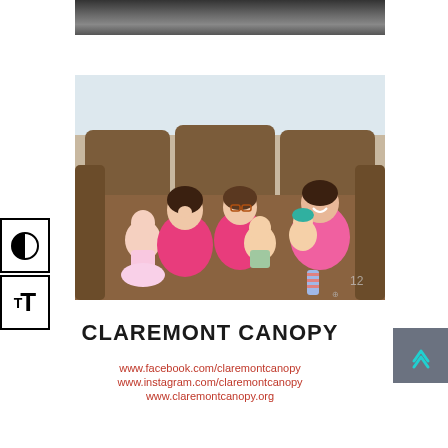[Figure (photo): Partial top photo showing dark/blurred background, cropped at top of page]
[Figure (photo): Three young girls sitting on a brown couch, each holding American Girl dolls, smiling]
CLAREMONT CANOPY
www.facebook.com/claremontcanopy
www.instagram.com/claremontcanopy
www.claremontcanopy.org